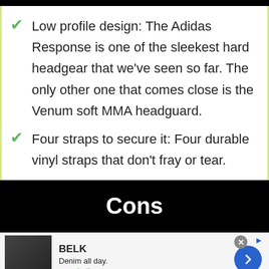Low profile design: The Adidas Response is one of the sleekest hard headgear that we've seen so far. The only other one that comes close is the Venum soft MMA headguard.
Four straps to secure it: Four durable vinyl straps that don't fray or tear.
Cons
[Figure (other): Advertisement banner for BELK showing denim fashion with tagline 'Denim all day.' and URL www.belk.com]